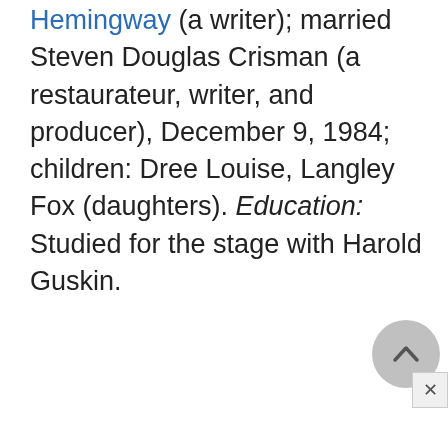Hemingway (a writer); married Steven Douglas Crisman (a restaurateur, writer, and producer), December 9, 1984; children: Dree Louise, Langley Fox (daughters). Education: Studied for the stage with Harold Guskin.